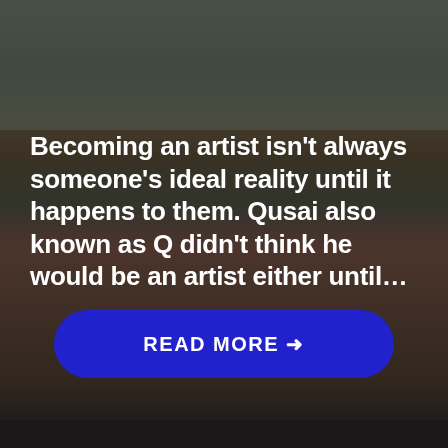[Figure (photo): Background photo of a person (Qusai/Q) lying on a bed surrounded by clothing items including red and yellow garments, with a dark overlay. The top portion shows a dimly lit room environment.]
Becoming an artist isn't always someone's ideal reality until it happens to them. Qusai also known as Q didn't think he would be an artist either until…
READ MORE →